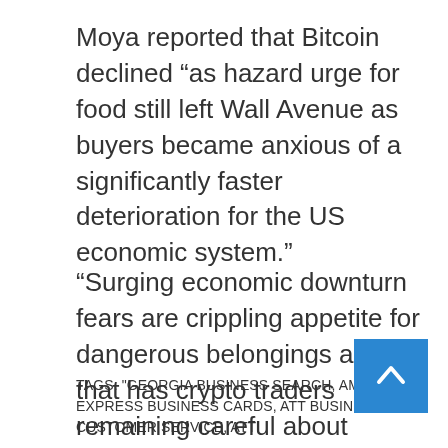Moya reported that Bitcoin declined “as hazard urge for food still left Wall Avenue as buyers became anxious of a significantly faster deterioration for the US economic system.”
“Surging economic downturn fears are crippling appetite for dangerous belongings and that has crypto traders remaining careful about getting bitcoin at these lows,” he mentioned
[ad_2]
Source backlink
TAGS: "GEORGIA BUSINESS SEARCH, AMERICAN EXPRESS BUSINESS CARDS, ATT BUSINESS CUSTOMER SERVICE, ATT